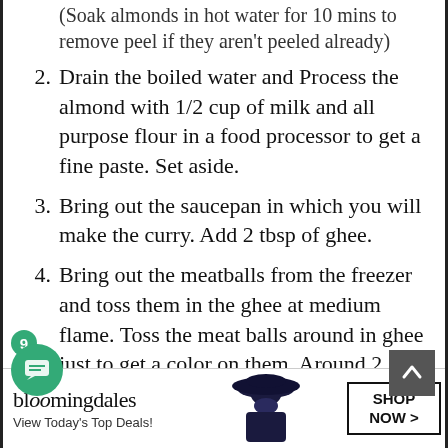(Soak almonds in hot water for 10 mins to remove peel if they aren't peeled already)
2. Drain the boiled water and Process the almond with 1/2 cup of milk and all purpose flour in a food processor to get a fine paste. Set aside.
3. Bring out the saucepan in which you will make the curry. Add 2 tbsp of ghee.
4. Bring out the meatballs from the freezer and toss them in the ghee at medium flame. Toss the meat balls around in ghee just to get a color on them. Around 2 mins.
5. Remove meatballs in a plate.
6. In the ghee left in saucepan, add whole spices and garlic ginger paste. Saute till the paste turns light brown.
7. Add all the spices and salt and saut[CLOSE]